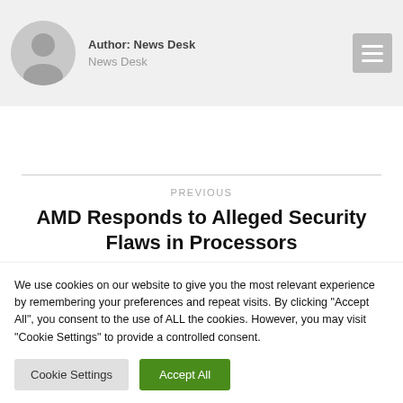[Figure (photo): Author avatar placeholder — grey circle with silhouette icon]
Author: News Desk
News Desk
[Figure (other): Hamburger menu icon button with three horizontal lines on grey background]
PREVIOUS
AMD Responds to Alleged Security Flaws in Processors
We use cookies on our website to give you the most relevant experience by remembering your preferences and repeat visits. By clicking "Accept All", you consent to the use of ALL the cookies. However, you may visit "Cookie Settings" to provide a controlled consent.